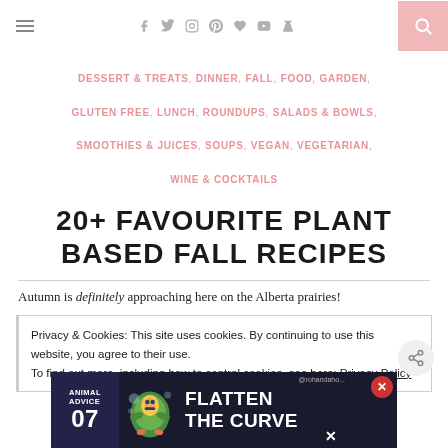Navigation header with hamburger menu, social icons, and search button
DESSERT & TREATS, DINNER, FALL, FOOD, GARDEN, GLUTEN FREE, LUNCH, ROUNDUPS, SALADS & BOWLS, SMOOTHIES & JUICES, SOUPS, VEGAN, VEGETARIAN, WINE & COCKTAILS
20+ FAVOURITE PLANT BASED FALL RECIPES
Autumn is definitely approaching here on the Alberta prairies!
Privacy & Cookies: This site uses cookies. By continuing to use this website, you agree to their use.
To find out more, including how to control cookies, see here: Privacy Policy
[Figure (screenshot): Advertisement banner with 'ANIMAL ADVICE 07 FLATTEN THE CURVE' text and colorful bird illustration with close button]